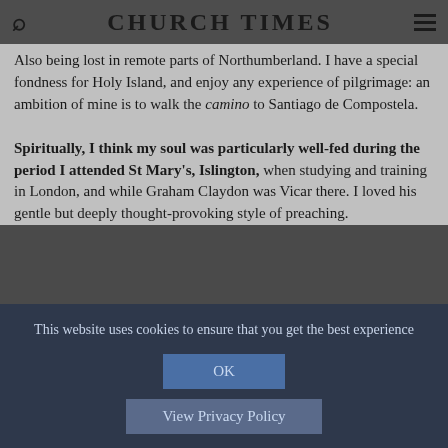CHURCH TIMES
Also being lost in remote parts of Northumberland. I have a special fondness for Holy Island, and enjoy any experience of pilgrimage: an ambition of mine is to walk the camino to Santiago de Compostela.
Spiritually, I think my soul was particularly well-fed during the period I attended St Mary's, Islington, when studying and training in London, and while Graham Claydon was Vicar there. I loved his gentle but deeply thought-provoking style of preaching.
This website uses cookies to ensure that you get the best experience
OK
View Privacy Policy